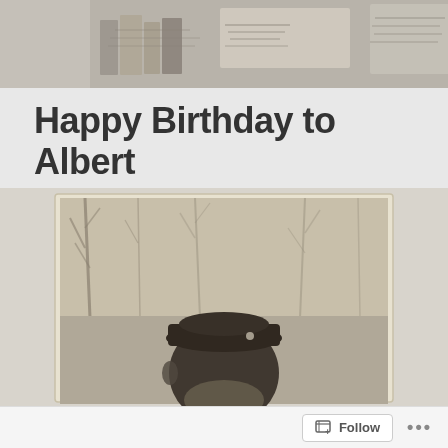[Figure (photo): Top portion of a photo showing stacked old books/journals and papers on a light background]
Happy Birthday to Albert
[Figure (photo): Vintage black-and-white photograph of a man wearing a military or work cap, standing outdoors with bare trees in the background]
Follow ...